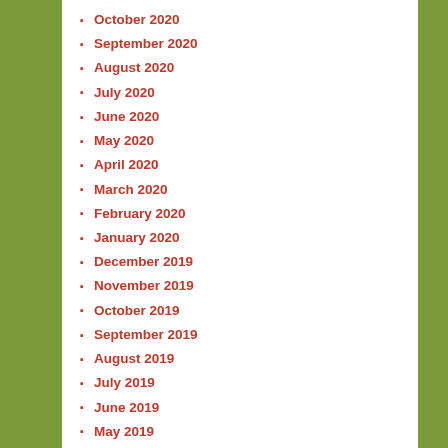October 2020
September 2020
August 2020
July 2020
June 2020
May 2020
April 2020
March 2020
February 2020
January 2020
December 2019
November 2019
October 2019
September 2019
August 2019
July 2019
June 2019
May 2019
April 2019
March 2019
February 2019